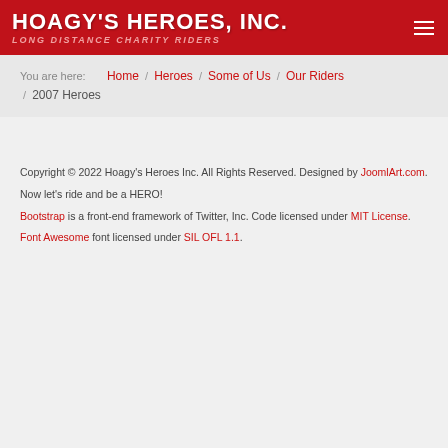HOAGY'S HEROES, INC. LONG DISTANCE CHARITY RIDERS
You are here: Home / Heroes / Some of Us / Our Riders / 2007 Heroes
Copyright © 2022 Hoagy's Heroes Inc. All Rights Reserved. Designed by JoomlArt.com. Now let's ride and be a HERO! Bootstrap is a front-end framework of Twitter, Inc. Code licensed under MIT License. Font Awesome font licensed under SIL OFL 1.1.